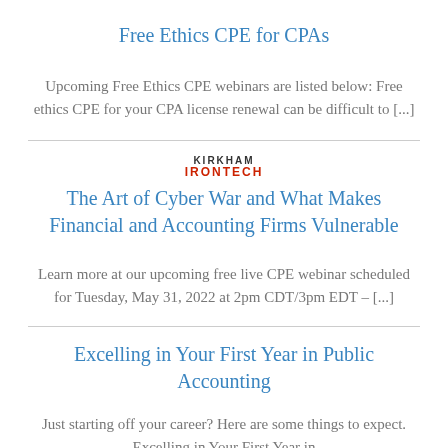Free Ethics CPE for CPAs
Upcoming Free Ethics CPE webinars are listed below: Free ethics CPE for your CPA license renewal can be difficult to [...]
The Art of Cyber War and What Makes Financial and Accounting Firms Vulnerable
Learn more at our upcoming free live CPE webinar scheduled for Tuesday, May 31, 2022 at 2pm CDT/3pm EDT – [...]
Excelling in Your First Year in Public Accounting
Just starting off your career? Here are some things to expect. Excelling in Your First Year in